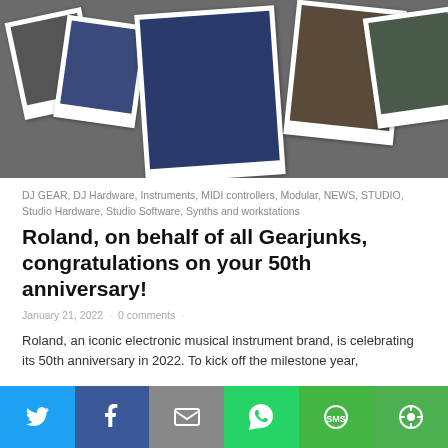[Figure (photo): Hero banner with polaroid-style photos of DJ gear, synthesizers, and drum kits on a dark grey background]
DJ GEAR, DJ Hardware, Instruments, MIDI controllers, Modular, NEWS, STUDIO, Studio Hardware, Studio Software, Synths and workstations
Roland, on behalf of all Gearjunks, congratulations on your 50th anniversary!
January 21, 2022 · 0 comments ·
Roland, an iconic electronic musical instrument brand, is celebrating its 50th anniversary in 2022. To kick off the milestone year,
[Figure (screenshot): Embedded video player with black background]
[Figure (infographic): Social share bar with Twitter, Facebook, Email, WhatsApp, SMS, and other share buttons]